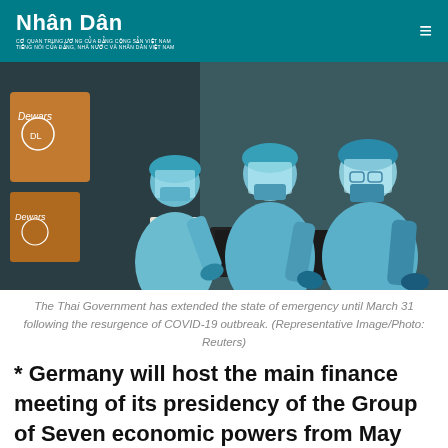Nhân Dân
[Figure (photo): Three healthcare workers in blue PPE gowns, face shields, masks, and gloves leaning over laptops/equipment at a table, likely a COVID-19 screening or data entry station.]
The Thai Government has extended the state of emergency until March 31 following the resurgence of COVID-19 outbreak. (Representative Image/Photo: Reuters)
* Germany will host the main finance meeting of its presidency of the Group of Seven economic powers from May 18-20, the Rheinische Post newspaper reported on